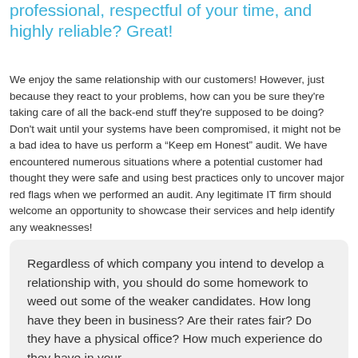professional, respectful of your time, and highly reliable? Great!
We enjoy the same relationship with our customers! However, just because they react to your problems, how can you be sure they're taking care of all the back-end stuff they're supposed to be doing? Don't wait until your systems have been compromised, it might not be a bad idea to have us perform a “Keep em Honest” audit. We have encountered numerous situations where a potential customer had thought they were safe and using best practices only to uncover major red flags when we performed an audit. Any legitimate IT firm should welcome an opportunity to showcase their services and help identify any weaknesses!
Regardless of which company you intend to develop a relationship with, you should do some homework to weed out some of the weaker candidates. How long have they been in business? Are their rates fair? Do they have a physical office? How much experience do they have in your